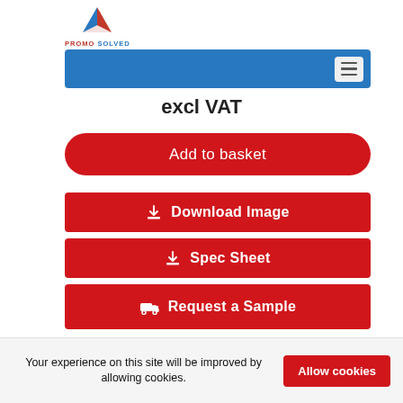[Figure (logo): Promo Solved logo with red and blue triangular mark and text PROMO SOLVED]
Navigation bar with hamburger menu icon
excl VAT
Add to basket
Download Image
Spec Sheet
Request a Sample
Your experience on this site will be improved by allowing cookies.
Allow cookies